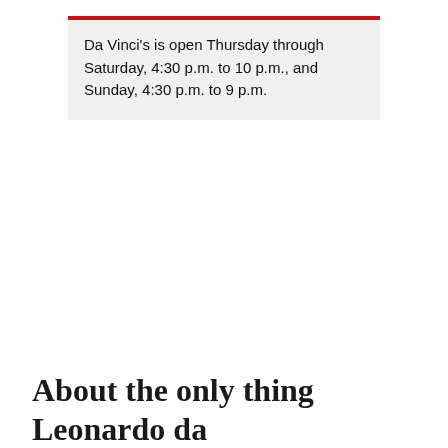Da Vinci's is open Thursday through Saturday, 4:30 p.m. to 10 p.m., and Sunday, 4:30 p.m. to 9 p.m.
About the only thing Leonardo da